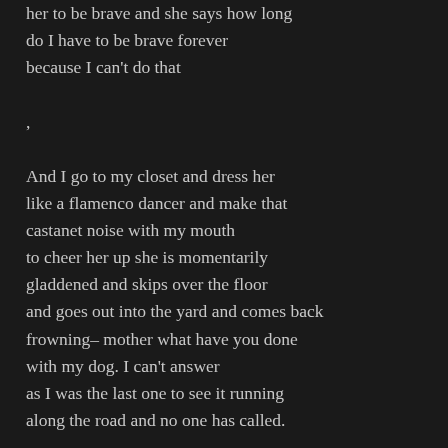her to be brave and she says how long do I have to be brave forever because I can't do that
,
And I go to my closet and dress her like a flamenco dancer and make that castanet noise with my mouth to cheer her up she is momentarily gladdened and skips over the floor and goes out into the yard and comes back frowning– mother what have you done with my dog. I can't answer as I was the last one to see it running along the road and no one has called.
,
But then I hold her on my lap and kiss away her tears and begin a story once there was a girl who had the great skill of taming wild ponies